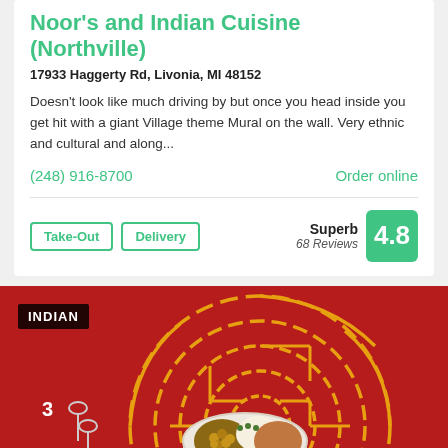Noor's and Indian Cuisine (Northville)
17933 Haggerty Rd, Livonia, MI 48152
Doesn't look like much driving by but once you head inside you get hit with a giant Village theme Mural on the wall. Very ethnic and cultural and along...
(248) 916-8700
Order online
Take-Out
Delivery
Superb 68 Reviews 4.8
[Figure (photo): Restaurant promotional image with red background featuring a circular maze pattern in orange/yellow, a bowl of Indian food (chickpeas, rice, curry), spoons, and an 'INDIAN' label badge. Numbers 3 and 2 are visible.]